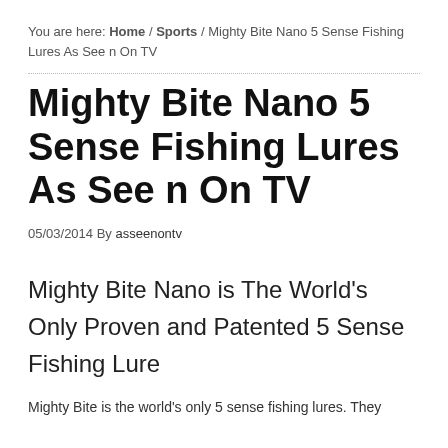You are here: Home / Sports / Mighty Bite Nano 5 Sense Fishing Lures As See n On TV
Mighty Bite Nano 5 Sense Fishing Lures As See n On TV
05/03/2014 By asseenontv
Mighty Bite Nano is The World's Only Proven and Patented 5 Sense Fishing Lure
Mighty Bite is the world's only 5 sense fishing lures. They